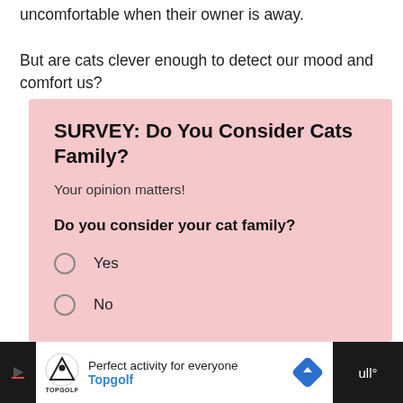uncomfortable when their owner is away.
But are cats clever enough to detect our mood and comfort us?
SURVEY: Do You Consider Cats Family?
Your opinion matters!
Do you consider your cat family?
Yes
No
Perfect activity for everyone  Topgolf